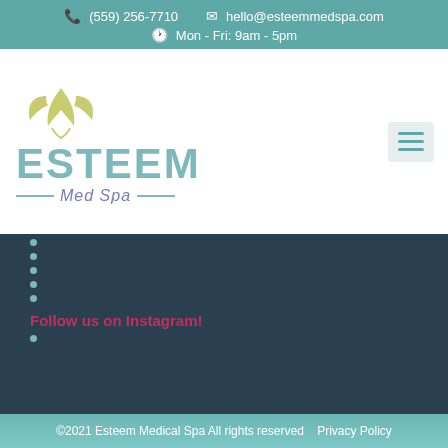(559) 256-7710   hello@esteemmedspa.com   Mon - Fri: 9am - 5pm
[Figure (logo): Esteem Med Spa logo with olive/yellow-green lotus leaf graphic above teal stylized text ESTEEM and italic purple-blue Med Spa text with decorative lines]
Follow us on Instagram!
©2021 Esteem Medical Spa All rights reserved   Privacy Policy